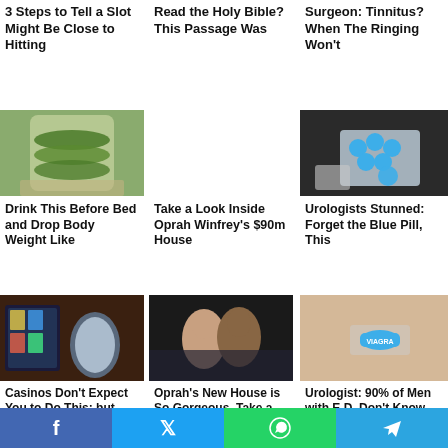3 Steps to Tell a Slot Might Be Close to Hitting
Read the Holy Bible? This Passage Was
Surgeon: Tinnitus? When The Ringing Won't
[Figure (photo): Glass jar with lime slices and grains]
[Figure (photo): Empty middle cell]
[Figure (photo): Blister pack of blue pills held in hand]
Drink This Before Bed and Drop Body Weight Like
Take a Look Inside Oprah Winfrey's $90m House
Urologists Stunned: Forget the Blue Pill, This
[Figure (photo): Man standing by casino slot machines]
[Figure (photo): Oprah and man in formal wear at event]
[Figure (photo): Blue diamond-shaped pill on fingertip]
Casinos Don't Expect You to Do This; but They
Oprah's New House is So Gorgeous. Take a
Urologist: 90% of Men with E.D. Don't Know About